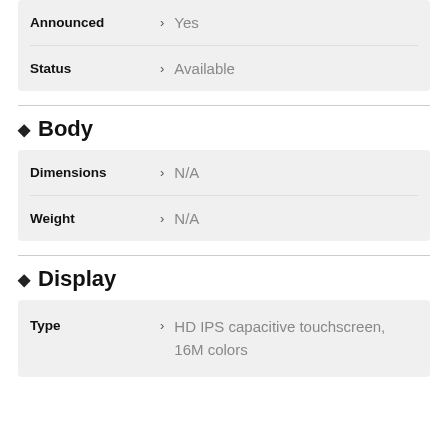| Field |  | Value |
| --- | --- | --- |
| Announced | > | Yes |
| Status | > | Available |
Body
| Field |  | Value |
| --- | --- | --- |
| Dimensions | > | N/A |
| Weight | > | N/A |
Display
| Field |  | Value |
| --- | --- | --- |
| Type | > | HD IPS capacitive touchscreen, 16M colors |